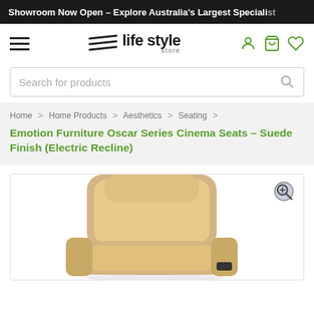Showroom Now Open – Explore Australia's Largest Speciali...
[Figure (logo): Life Style Store logo with three diagonal lines and text 'life style store']
Search for products
Home > Home Products > Aesthetics > Seating >
Emotion Furniture Oscar Series Cinema Seats – Suede Finish (Electric Recline)
[Figure (photo): Beige/tan suede cinema recliner chair shown from a top-front angle, partially visible, with a small control panel on the armrest]